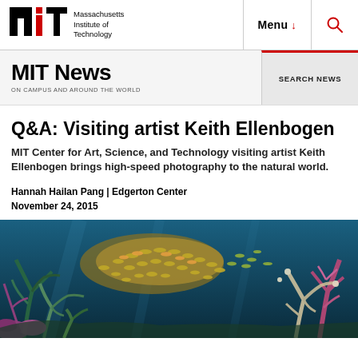Massachusetts Institute of Technology | Menu | Search
MIT News ON CAMPUS AND AROUND THE WORLD | SEARCH NEWS
Q&A: Visiting artist Keith Ellenbogen
MIT Center for Art, Science, and Technology visiting artist Keith Ellenbogen brings high-speed photography to the natural world.
Hannah Hailan Pang | Edgerton Center
November 24, 2015
[Figure (photo): Underwater photograph showing a school of colorful fish swimming near coral reef with purple and pink coral formations against a blue ocean background]